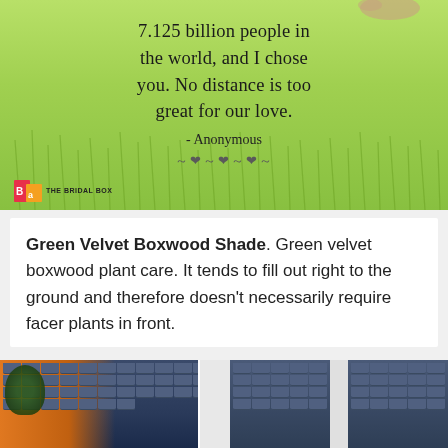[Figure (photo): Romantic quote image with green grass field background, heart-shaped hands at top, text quote about choosing one person from 7.125 billion, attributed to Anonymous, with decorative flourish and The Bridal Box logo]
Green Velvet Boxwood Shade. Green velvet boxwood plant care. It tends to fill out right to the ground and therefore doesn't necessarily require facer plants in front.
[Figure (photo): Two photos of dark blue/grey house siding with white windows]